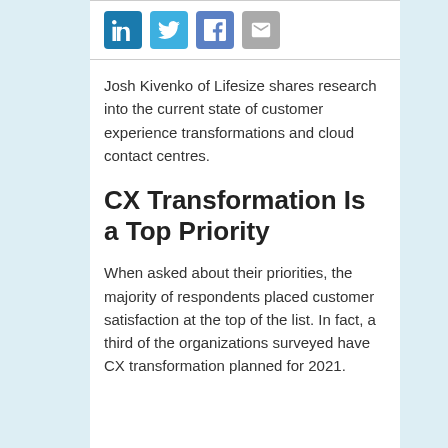[Figure (other): Social media sharing icons: LinkedIn (blue), Twitter (light blue), Facebook (blue-gray), Email (gray)]
Josh Kivenko of Lifesize shares research into the current state of customer experience transformations and cloud contact centres.
CX Transformation Is a Top Priority
When asked about their priorities, the majority of respondents placed customer satisfaction at the top of the list. In fact, a third of the organizations surveyed have CX transformation planned for 2021.